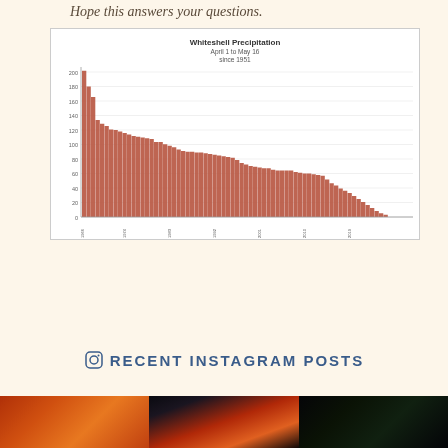Hope this answers your questions.
[Figure (bar-chart): Bar chart showing Whiteshell Precipitation from April 1 to May 16 since 1951, sorted in descending order. Bars are dark red/salmon color. Y-axis ranges from 0 to approximately 200, with gridlines at 20, 40, 60, 80, 100, 120, 140, 160, 180, 200. X-axis shows years.]
RECENT INSTAGRAM POSTS
[Figure (photo): Three nature/landscape photos showing dramatic orange and red sunset skies with silhouetted trees, and a dark night sky scene.]